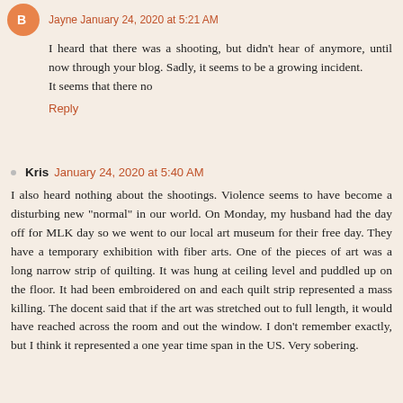Jayne January 24, 2020 at 5:21 AM
I heard that there was a shooting, but didn't hear of anymore, until now through your blog. Sadly, it seems to be a growing incident.
It seems that there no
Reply
Kris January 24, 2020 at 5:40 AM
I also heard nothing about the shootings. Violence seems to have become a disturbing new "normal" in our world. On Monday, my husband had the day off for MLK day so we went to our local art museum for their free day. They have a temporary exhibition with fiber arts. One of the pieces of art was a long narrow strip of quilting. It was hung at ceiling level and puddled up on the floor. It had been embroidered on and each quilt strip represented a mass killing. The docent said that if the art was stretched out to full length, it would have reached across the room and out the window. I don't remember exactly, but I think it represented a one year time span in the US. Very sobering.